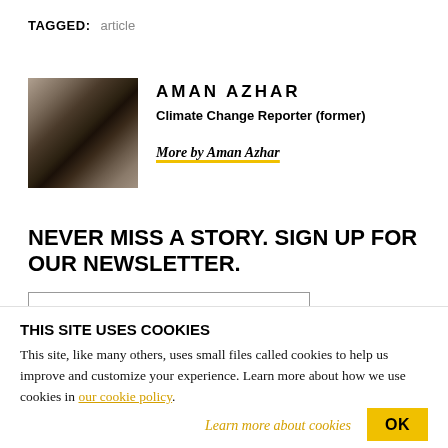TAGGED: article
AMAN AZHAR
Climate Change Reporter (former)
More by Aman Azhar
NEVER MISS A STORY. SIGN UP FOR OUR NEWSLETTER.
THIS SITE USES COOKIES
This site, like many others, uses small files called cookies to help us improve and customize your experience. Learn more about how we use cookies in our cookie policy.
Learn more about cookies   OK